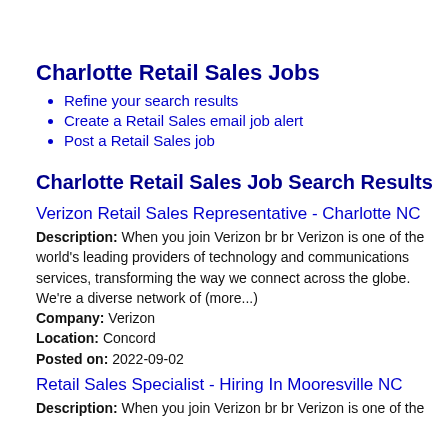Charlotte Retail Sales Jobs
Refine your search results
Create a Retail Sales email job alert
Post a Retail Sales job
Charlotte Retail Sales Job Search Results
Verizon Retail Sales Representative - Charlotte NC
Description: When you join Verizon br br Verizon is one of the world's leading providers of technology and communications services, transforming the way we connect across the globe. We're a diverse network of (more...) Company: Verizon Location: Concord Posted on: 2022-09-02
Retail Sales Specialist - Hiring In Mooresville NC
Description: When you join Verizon br br Verizon is one of the